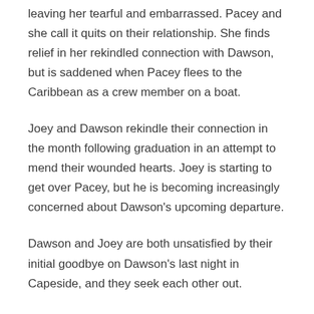leaving her tearful and embarrassed. Pacey and she call it quits on their relationship. She finds relief in her rekindled connection with Dawson, but is saddened when Pacey flees to the Caribbean as a crew member on a boat.
Joey and Dawson rekindle their connection in the month following graduation in an attempt to mend their wounded hearts. Joey is starting to get over Pacey, but he is becoming increasingly concerned about Dawson's upcoming departure.
Dawson and Joey are both unsatisfied by their initial goodbye on Dawson's last night in Capeside, and they seek each other out.